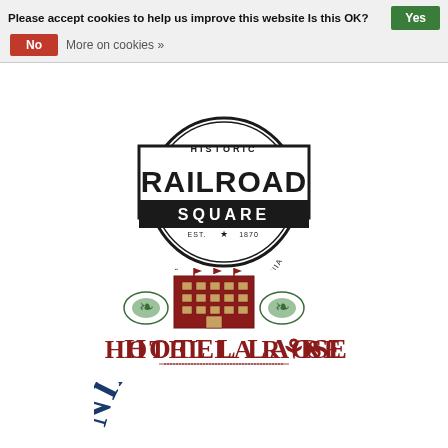Please accept cookies to help us improve this website Is this OK? Yes
No More on cookies »
[Figure (logo): Historic Railroad Square logo — circular badge with text RAILROAD SQUARE, EST. 1870, Santa Rosa • California]
[Figure (logo): Hotel La Rose logo — red text with decorative building illustration and floral ornaments]
[Figure (logo): California Wild logo — partial, showing NIA WILD text arc]